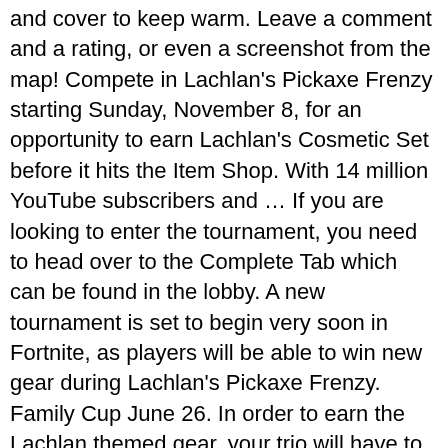and cover to keep warm. Leave a comment and a rating, or even a screenshot from the map! Compete in Lachlan's Pickaxe Frenzy starting Sunday, November 8, for an opportunity to earn Lachlan's Cosmetic Set before it hits the Item Shop. With 14 million YouTube subscribers and ... If you are looking to enter the tournament, you need to head over to the Complete Tab which can be found in the lobby. A new tournament is set to begin very soon in Fortnite, as players will be able to win new gear during Lachlan's Pickaxe Frenzy. Family Cup June 26. In order to earn the Lachlan themed gear, your trio will have to finish high enough on the leaderboard. i made a quick map with most of the items in the upcoming cup, code is 4614-6409-4093. Categories. This isn't the first Lachlan-based event for Fortnite. Lachy's Tournament Practice. The limited-time competition gives you the chance to win the Fortnite Bottom Dweller pickaxe for free and win trophies, but you can get another ... How to participate in Lachlan Pickaxe Frenzy tournament? He began his career with an internship engineering study in Toulouse on a draft AIRBUS Toulouse Blagnac, It then connects to Nantes, where he worked